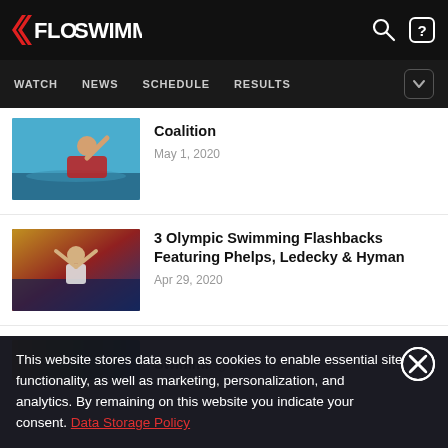FloSwimming
WATCH NEWS SCHEDULE RESULTS
Coalition
May 1, 2020
3 Olympic Swimming Flashbacks Featuring Phelps, Ledecky & Hyman
Apr 29, 2020
This website stores data such as cookies to enable essential site functionality, as well as marketing, personalization, and analytics. By remaining on this website you indicate your consent. Data Storage Policy